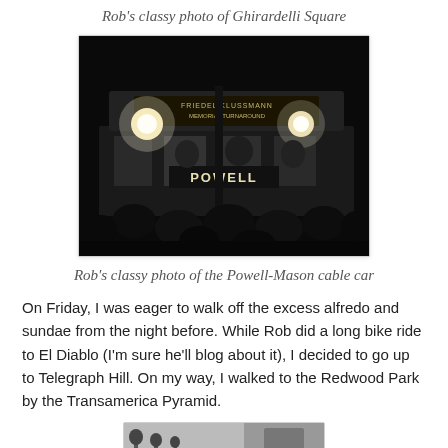Rob's classy photo of Ghirardelli Square
[Figure (photo): Black and white night photo of a Powell-Mason cable car with bright lights and crowds of people in the foreground, sign reading POWELL visible on the front of the car]
Rob's classy photo of the Powell-Mason cable car
On Friday, I was eager to walk off the excess alfredo and sundae from the night before. While Rob did a long bike ride to El Diablo (I'm sure he'll blog about it), I decided to go up to Telegraph Hill. On my way, I walked to the Redwood Park by the Transamerica Pyramid.
[Figure (photo): Partial view of another photo at the bottom of the page, appears to be an outdoor scene]